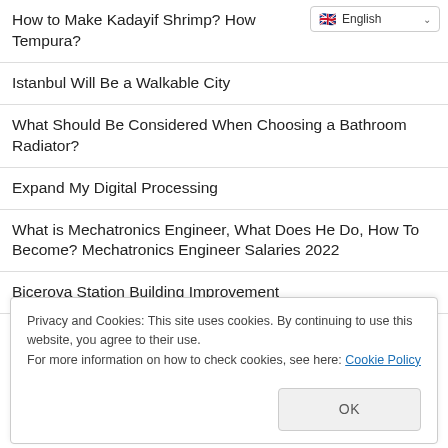How to Make Kadayif Shrimp? How Tempura?
Istanbul Will Be a Walkable City
What Should Be Considered When Choosing a Bathroom Radiator?
Expand My Digital Processing
What is Mechatronics Engineer, What Does He Do, How To Become? Mechatronics Engineer Salaries 2022
Biçerova Station Building Improvement
Today in History: Gottlieb Daimler Gets The First Motorcycle Patent
Privacy and Cookies: This site uses cookies. By continuing to use this website, you agree to their use.
For more information on how to check cookies, see here: Cookie Policy
OK